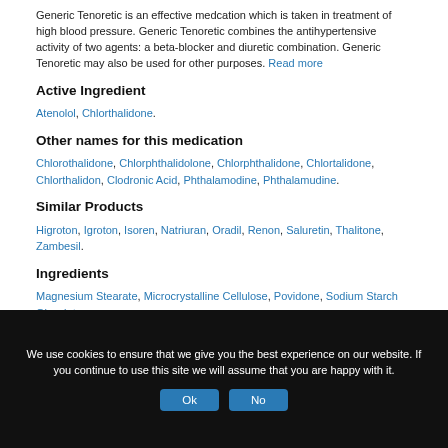Generic Tenoretic is an effective medcation which is taken in treatment of high blood pressure. Generic Tenoretic combines the antihypertensive activity of two agents: a beta-blocker and diuretic combination. Generic Tenoretic may also be used for other purposes. Read more
Active Ingredient
Atenolol, Chlorthalidone.
Other names for this medication
Chlorothalidone, Chlorphthalidolone, Chlorphthalidone, Chlortalidone, Chlorthalidon, Clodronic Acid, Phthalamodine, Phthalamudine.
Similar Products
Higroton, Igroton, Isoren, Natriuran, Oradil, Renon, Saluretin, Thalitone, Zambesil.
Ingredients
Magnesium Stearate, Microcrystalline Cellulose, Povidone, Sodium Starch Glycolate.
We use cookies to ensure that we give you the best experience on our website. If you continue to use this site we will assume that you are happy with it.